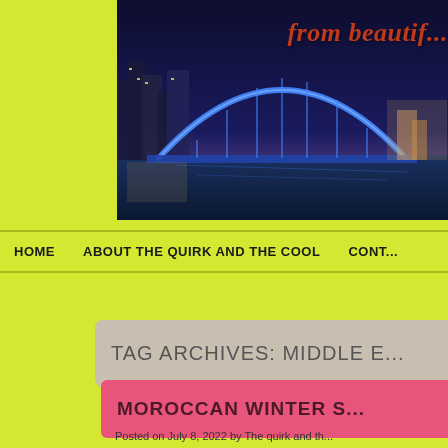[Figure (photo): Night photo of Sydney Harbour Bridge with blue lights and city skyline in background, with site title text overlay reading 'from beautif...']
HOME    ABOUT THE QUIRK AND THE COOL    CONT...
TAG ARCHIVES: MIDDLE E...
MOROCCAN WINTER S...
Posted on July 8, 2022 by The quirk and th...